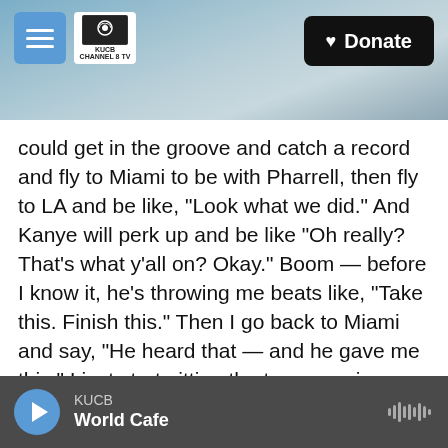KUCB Channel 8 TV | Donate
could get in the groove and catch a record and fly to Miami to be with Pharrell, then fly to LA and be like, "Look what we did." And Kanye will perk up and be like "Oh really? That's what y'all on? Okay." Boom — before I know it, he's throwing me beats like, "Take this. Finish this." Then I go back to Miami and say, "He heard that — and he gave me this." I just start pitting the two energies versus each other the whole time.
Then it got to a point where, for "Rock N Roll" featuring Kid Cudi, Kanye himself couldn't find the drums that he liked for the record. He was like,
KUCB World Cafe